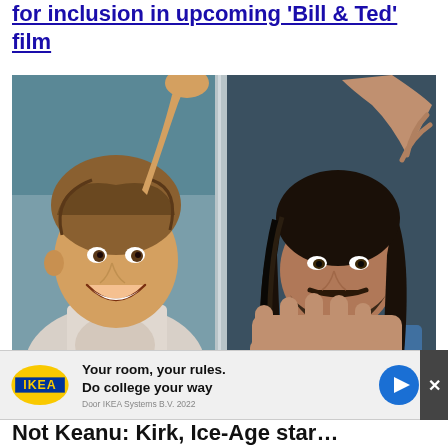for inclusion in upcoming 'Bill & Ted' film
[Figure (photo): Two men posing in what appears to be elevator or phone booth doors. Left man is smiling broadly with arm raised overhead, wearing a white graphic t-shirt. Right man has long dark hair and a beard, wearing a blue t-shirt, with one hand raised above framing his face and the other hand spread open toward the camera.]
[Figure (infographic): IKEA advertisement banner. IKEA logo on left (yellow oval with blue IKEA text), ad copy reading 'Your room, your rules. Do college your way' and small copyright text 'Door IKEA Systems B.V. 2022', blue circular play button on right.]
Not Keanu: Kirk, Ice-Age star...